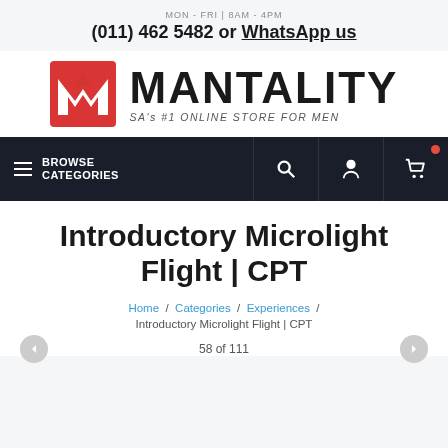MON - FRI | 8AM - 4PM
(011) 462 5482 or WhatsApp us
[Figure (logo): Mantality logo: red square with white M icon, and bold text MANTALITY with tagline SA's #1 ONLINE STORE FOR MEN]
[Figure (screenshot): Navigation bar with hamburger menu, BROWSE CATEGORIES text, search icon, user icon, and cart icon with red dot on dark background]
Introductory Microlight Flight | CPT
Home / Categories / Experiences / Introductory Microlight Flight | CPT
58 of 111